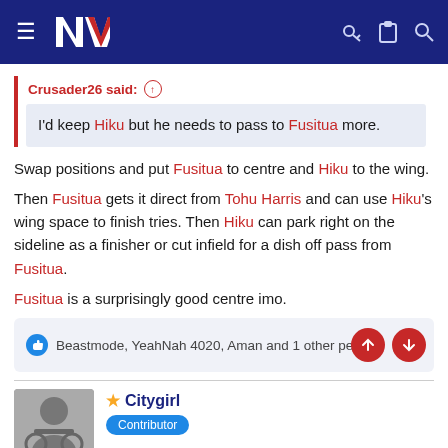NZ Warriors forum header with navigation
Crusader26 said: ↑
I'd keep Hiku but he needs to pass to Fusitua more.
Swap positions and put Fusitua to centre and Hiku to the wing.
Then Fusitua gets it direct from Tohu Harris and can use Hiku's wing space to finish tries. Then Hiku can park right on the sideline as a finisher or cut infield for a dish off pass from Fusitua.
Fusitua is a surprisingly good centre imo.
Beastmode, YeahNah 4020, Aman and 1 other person
Citygirl — Contributor